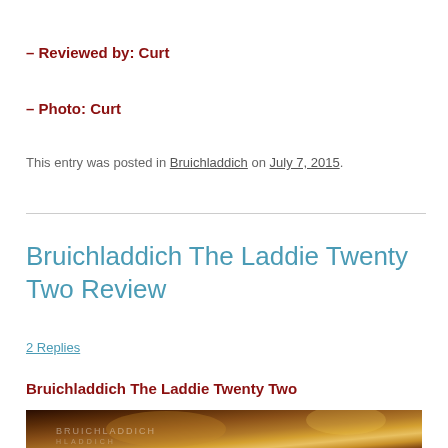– Reviewed by:  Curt
– Photo:  Curt
This entry was posted in Bruichladdich on July 7, 2015.
Bruichladdich The Laddie Twenty Two Review
2 Replies
Bruichladdich The Laddie Twenty Two
[Figure (photo): Partial view of a bottle of Bruichladdich whisky, dark warm tones with amber and gold highlights]